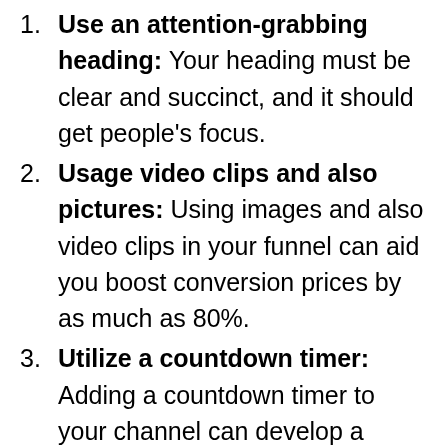Use an attention-grabbing heading: Your heading must be clear and succinct, and it should get people's focus.
Usage video clips and also pictures: Using images and also video clips in your funnel can aid you boost conversion prices by as much as 80%.
Utilize a countdown timer: Adding a countdown timer to your channel can develop a sense of seriousness and also urge individuals to do something about it.
Test, test, examination: Always test your channel to see what's functioning and what's not. Attempt